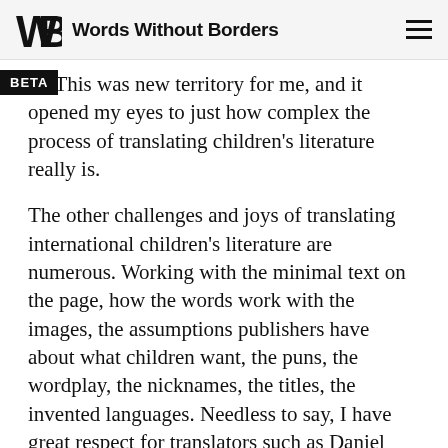Words Without Borders
re. This was new territory for me, and it opened my eyes to just how complex the process of translating children's literature really is.
The other challenges and joys of translating international children's literature are numerous. Working with the minimal text on the page, how the words work with the images, the assumptions publishers have about what children want, the puns, the wordplay, the nicknames, the titles, the invented languages. Needless to say, I have great respect for translators such as Daniel Hahn, ise Muir, Lawrence Schimel, Ginny Tapley emori, and Laura Watkinson, who have made so many delightful titles for young readers.